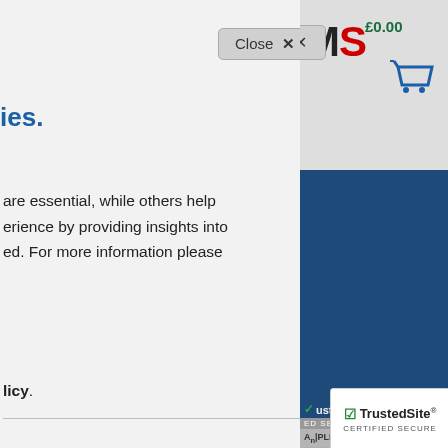[Figure (screenshot): Website header showing 'MS' logo in black and red, £0.00 price in green, and blue shopping cart icon, on grey background]
[Figure (screenshot): Blue navy panel on the right side of the website background]
ies.
[Figure (other): Close button with X icon in grey rounded rectangle]
are essential, while others help erience by providing insights into ed. For more information please
licy.
ole core functionality such as he technical operation of the annot function properly without can only be disabled by changing es.
es
[Figure (logo): TrustedSite badge and ApplePay/PLIEV badge at bottom right]
[Figure (logo): TrustedSite CERTIFIED SECURE badge in white box at bottom right corner]